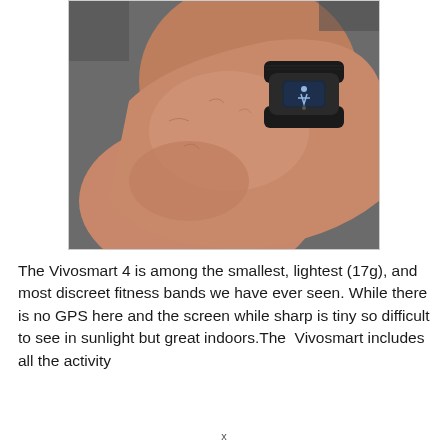[Figure (photo): Close-up photo of a person's wrists/hands wearing a Garmin Vivosmart 4 fitness band. The band is black with a small rectangular dark display showing an icon. The skin and background show a gym/workout context.]
The Vivosmart 4 is among the smallest, lightest (17g), and most discreet fitness bands we have ever seen. While there is no GPS here and the screen while sharp is tiny so difficult to see in sunlight but great indoors.The  Vivosmart includes all the activity